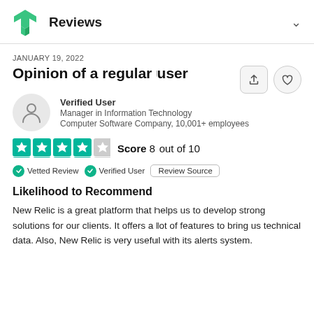Reviews
JANUARY 19, 2022
Opinion of a regular user
Verified User
Manager in Information Technology
Computer Software Company, 10,001+ employees
Score 8 out of 10
Vetted Review   Verified User   Review Source
Likelihood to Recommend
New Relic is a great platform that helps us to develop strong solutions for our clients. It offers a lot of features to bring us technical data. Also, New Relic is very useful with its alerts system.